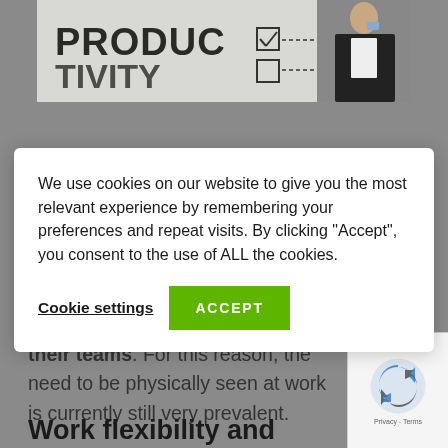[Figure (photo): Person standing in front of a whiteboard with 'PRODUCTIVITY' written on it, with checklist drawings. The person appears to be drinking from a cup.]
We use cookies on our website to give you the most relevant experience by remembering your preferences and repeat visits. By clicking "Accept", you consent to the use of ALL the cookies.
Cookie settings
ACCEPT
their teams. For this reason, the need to be physically seen at work is currently still very prevalent.
Work flexibility and